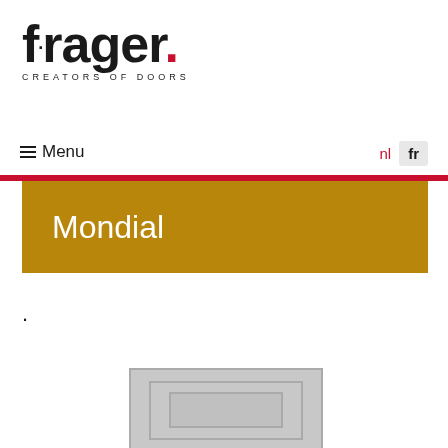[Figure (logo): Frager logo with stylized text 'f·rager.' with red dot, and tagline 'CREATORS OF DOORS']
☰ Menu
nl  fr
Mondial
·
[Figure (photo): Partial view of a door panel, grey/silver colored with recessed rectangular panels, shown at bottom of page]